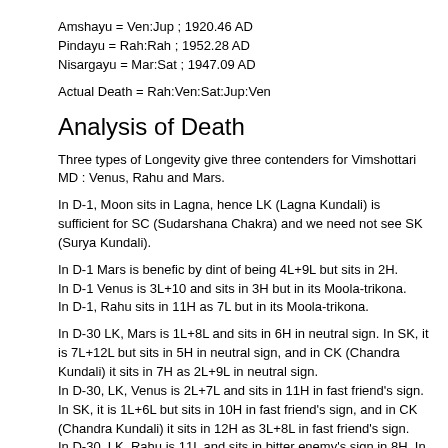Amshayu = Ven:Jup ; 1920.46 AD
Pindayu = Rah:Rah ; 1952.28 AD
Nisargayu = Mar:Sat ; 1947.09 AD
Actual Death = Rah:Ven:Sat:Jup:Ven
Analysis of Death
Three types of Longevity give three contenders for Vimshottari MD : Venus, Rahu and Mars.
In D-1, Moon sits in Lagna, hence LK (Lagna Kundali) is sufficient for SC (Sudarshana Chakra) and we need not see SK (Surya Kundali).
In D-1 Mars is benefic by dint of being 4L+9L but sits in 2H.
In D-1 Venus is 3L+10 and sits in 3H but in its Moola-trikona.
In D-1, Rahu sits in 11H as 7L but in its Moola-trikona.
In D-30 LK, Mars is 1L+8L and sits in 6H in neutral sign. In SK, it is 7L+12L but sits in 5H in neutral sign, and in CK (Chandra Kundali) it sits in 7H as 2L+9L in neutral sign.
In D-30, LK, Venus is 2L+7L and sits in 11H in fast friend's sign. In SK, it is 1L+6L but sits in 10H in fast friend's sign, and in CK (Chandra Kundali) it sits in 12H as 3L+8L in fast friend's sign.
In D-30, LK, Rahu is 11L and sits in bitter enemy's sign in 8H. In SK, it is 10L but sits in 8H in bitter enemy's sign, and in CK (Chandra Kundali) it sits in 10H but as 12L in bitter enemy's sign.